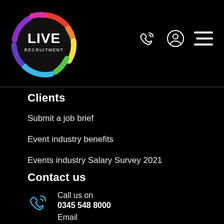[Figure (logo): Live Recruitment logo — circular rainbow swirl with LIVE in white bold text and RECRUITMENT below in small white text, on black background]
Clients
Submit a job brief
Event industry benefits
Events industry Salary Survey 2021
Contact us
Call us on
0345 548 8000
Email
hi@live-recruitment.co.uk